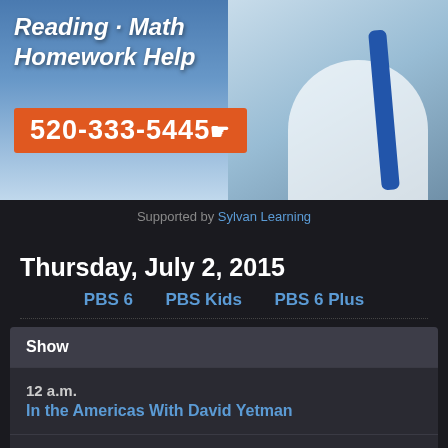[Figure (photo): Advertisement banner for Sylvan Learning showing a child with a backpack. Text reads 'Reading · Math Homework Help' with phone number 520-333-5445 on an orange background.]
Supported by Sylvan Learning
Thursday, July 2, 2015
PBS 6   PBS Kids   PBS 6 Plus
| Show |
| --- |
| 12 a.m.
In the Americas With David Yetman |
| 12:30 a.m.
Nightly Business Report |